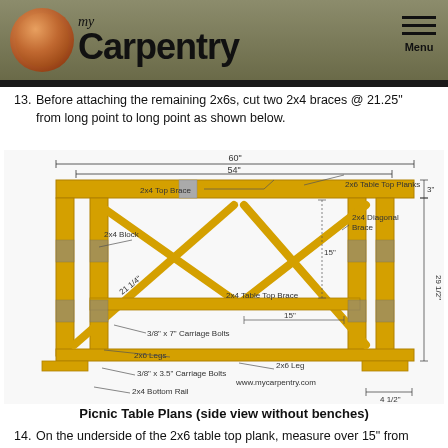myCarpentry
13. Before attaching the remaining 2x6s, cut two 2x4 braces @ 21.25" from long point to long point as shown below.
[Figure (engineering-diagram): Side view of picnic table without benches showing labeled components: 2x4 Top Brace, 2x6 Table Top Planks, 2x4 Diagonal Brace, 2x4 Block, 2x4 Table Top Brace, 3/8" x 7" Carriage Bolts, 2x6 Legs, 2x6 Leg, 3/8" x 3.5" Carriage Bolts, 2x4 Bottom Rail. Dimensions: 60", 54", 15", 15", 3", 29 1/2", 4 1/2", 21 1/4". Website: www.mycarpentry.com]
Picnic Table Plans (side view without benches)
14. On the underside of the 2x6 table top plank, measure over 15" from